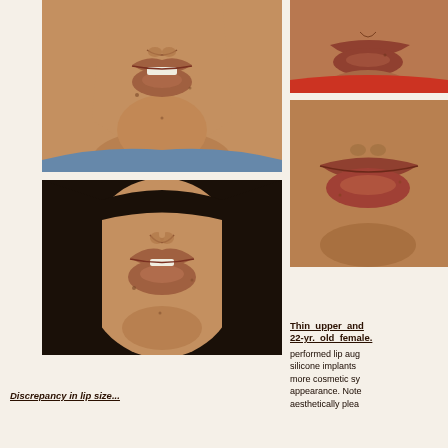[Figure (photo): Close-up frontal view of lower face showing thin upper and lower lips, patient before lip augmentation procedure]
[Figure (photo): Close-up frontal view of same patient after lip augmentation, wearing dark hijab, showing fuller lips]
[Figure (photo): Partial close-up of another patient face showing lips and cheek area, before treatment]
[Figure (photo): Partial close-up of same patient showing fuller lips after treatment]
Thin upper and lower lips. 22-yr. old female. performed lip augmentation with silicone implants more cosmetic symmetrical appearance. Note aesthetically plea...
Discrepancy in lip size...